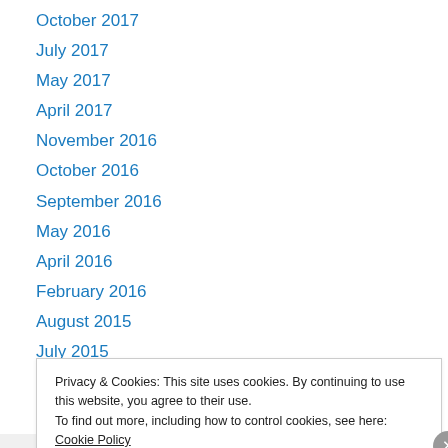October 2017
July 2017
May 2017
April 2017
November 2016
October 2016
September 2016
May 2016
April 2016
February 2016
August 2015
July 2015
May 2015
Privacy & Cookies: This site uses cookies. By continuing to use this website, you agree to their use. To find out more, including how to control cookies, see here: Cookie Policy
Close and accept